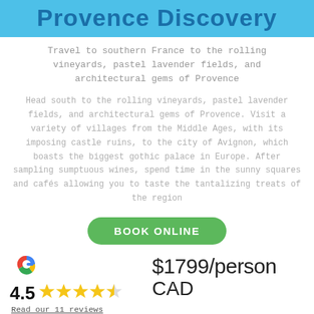Provence Discovery
Travel to southern France to the rolling vineyards, pastel lavender fields, and architectural gems of Provence
Head south to the rolling vineyards, pastel lavender fields, and architectural gems of Provence. Visit a variety of villages from the Middle Ages, with its imposing castle ruins, to the city of Avignon, which boasts the biggest gothic palace in Europe. After sampling sumptuous wines, spend time in the sunny squares and cafés allowing you to taste the tantalizing treats of the region
[Figure (other): Green BOOK ONLINE button with rounded corners]
[Figure (logo): Google G logo in multicolor]
4.5
[Figure (other): 4.5 out of 5 stars rating shown with yellow stars]
Read our 11 reviews
$1799/person CAD